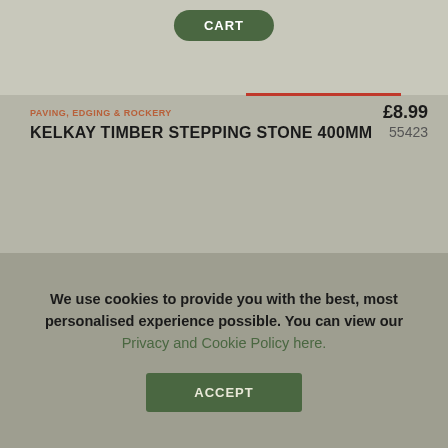CART
PAVING, EDGING & ROCKERY
KELKAY TIMBER STEPPING STONE 400MM
£8.99
55423
We use cookies to provide you with the best, most personalised experience possible. You can view our Privacy and Cookie Policy here.
ACCEPT